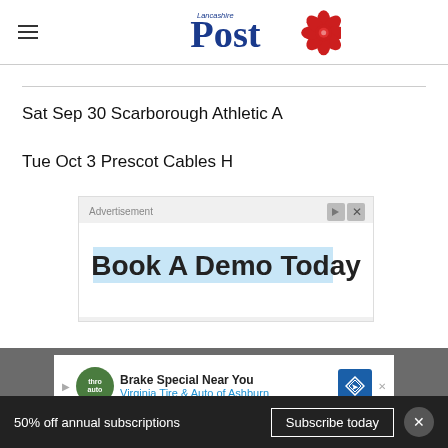Lancashire Post
Sat Sep 30 Scarborough Athletic A
Tue Oct 3 Prescot Cables H
[Figure (other): Advertisement banner: Book A Demo Today]
[Figure (other): Advertisement banner: Brake Special Near You - Virginia Tire & Auto of Ashburn]
50% off annual subscriptions
Subscribe today